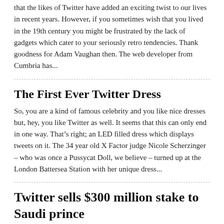that the likes of Twitter have added an exciting twist to our lives in recent years. However, if you sometimes wish that you lived in the 19th century you might be frustrated by the lack of gadgets which cater to your seriously retro tendencies. Thank goodness for Adam Vaughan then. The web developer from Cumbria has...
The First Ever Twitter Dress
So, you are a kind of famous celebrity and you like nice dresses but, hey, you like Twitter as well. It seems that this can only end in one way. That's right; an LED filled dress which displays tweets on it. The 34 year old X Factor judge Nicole Scherzinger – who was once a Pussycat Doll, we believe – turned up at the London Battersea Station with her unique dress...
Twitter sells $300 million stake to Saudi prince
A prince of Saudi Arabia has taken a $300 million stake in micro blogging site Twitter, adding another investment in the global media industry. Prince Alwaleed bin Talal, who is a nephew of the king of Saudi Arabia and was estimated to have a fortune of $20 billion by Forbes magazine, already owns a 7 percent share in News Corp. and is also currently planning on starting...